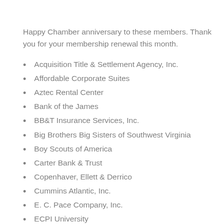Happy Chamber anniversary to these members. Thank you for your membership renewal this month.
Acquisition Title & Settlement Agency, Inc.
Affordable Corporate Suites
Aztec Rental Center
Bank of the James
BB&T Insurance Services, Inc.
Big Brothers Big Sisters of Southwest Virginia
Boy Scouts of America
Carter Bank & Trust
Copenhaver, Ellett & Derrico
Cummins Atlantic, Inc.
E. C. Pace Company, Inc.
ECPI University